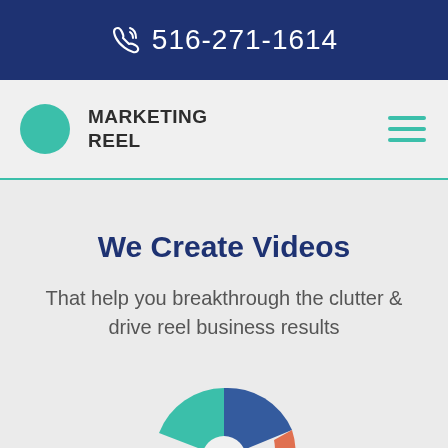516-271-1614
MARKETING REEL
We Create Videos
That help you breakthrough the clutter & drive reel business results
[Figure (illustration): Circular arrow diagram partially visible at the bottom of the page, with blue, orange/salmon, green, and yellow sections suggesting a cycle or process infographic.]